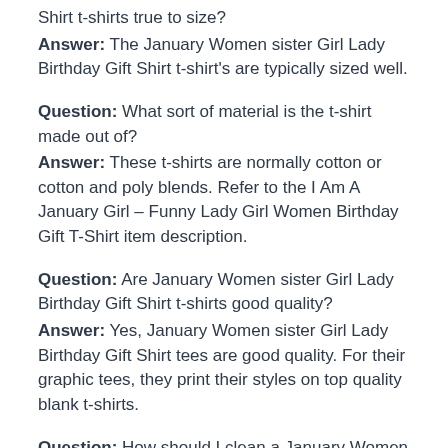Shirt t-shirts true to size?
Answer: The January Women sister Girl Lady Birthday Gift Shirt t-shirt's are typically sized well.
Question: What sort of material is the t-shirt made out of? Answer: These t-shirts are normally cotton or cotton and poly blends. Refer to the I Am A January Girl – Funny Lady Girl Women Birthday Gift T-Shirt item description.
Question: Are January Women sister Girl Lady Birthday Gift Shirt t-shirts good quality? Answer: Yes, January Women sister Girl Lady Birthday Gift Shirt tees are good quality. For their graphic tees, they print their styles on top quality blank t-shirts.
Question: How should I clean a January Women sister Girl Lady Birthday Gift Shirt t-shirt?